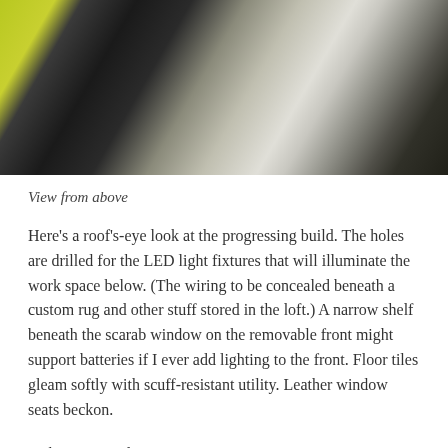[Figure (photo): View from above of a model train layout or diorama build in progress, showing a black chair, yellow-green trim, circular patterned tiles, a framed window element, and light wood flooring viewed from overhead.]
View from above
Here's a roof's-eye look at the progressing build. The holes are drilled for the LED light fixtures that will illuminate the work space below. (The wiring to be concealed beneath a custom rug and other stuff stored in the loft.) A narrow shelf beneath the scarab window on the removable front might support batteries if I ever add lighting to the front. Floor tiles gleam softly with scuff-resistant utility. Leather window seats beckon.
To be continued…